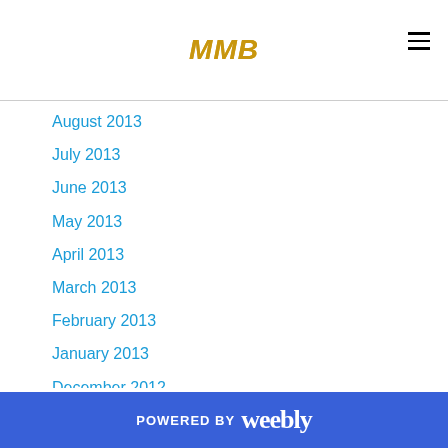MMB
August 2013
July 2013
June 2013
May 2013
April 2013
March 2013
February 2013
January 2013
December 2012
November 2012
October 2012
September 2012
August 2012
July 2012
June 2012
POWERED BY weebly